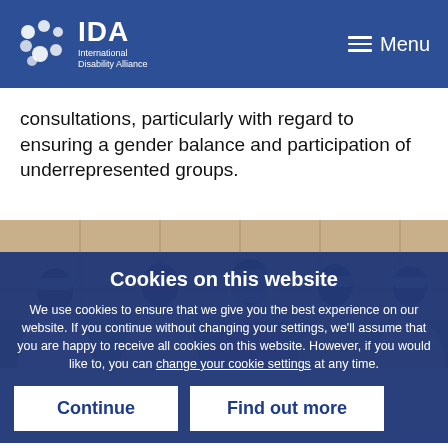IDA International Disability Alliance — Menu
consultations, particularly with regard to ensuring a gender balance and participation of underrepresented groups.
[Figure (photo): Group of people wearing face masks standing indoors, appearing to be at a consultation meeting]
Cookies on this website
We use cookies to ensure that we give you the best experience on our website. If you continue without changing your settings, we'll assume that you are happy to receive all cookies on this website. However, if you would like to, you can change your cookie settings at any time.
Continue
Find out more